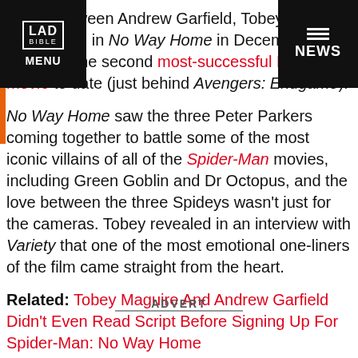LAD BIBLE | MENU | NEWS
action between Andrew Garfield, Tobey Maguire, Tom Holland in No Way Home in December, making it the second most-successful Marvel movie to date (just behind Avengers: Endgame).
No Way Home saw the three Peter Parkers coming together to battle some of the most iconic villains of all of the Spider-Man movies, including Green Goblin and Dr Octopus, and the love between the three Spideys wasn't just for the cameras. Tobey revealed in an interview with Variety that one of the most emotional one-liners of the film came straight from the heart.
Related: Tobey Maguire And Andrew Garfield Didn't Even Read Script Before Signing Up For Spider-Man: No Way Home
ADVERT